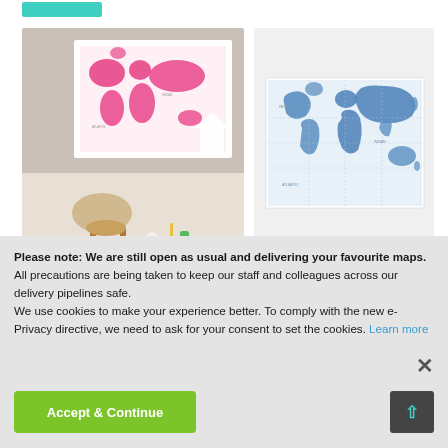[Figure (photo): Children's pink world map art print displayed on a desk in a children's room setting]
[Figure (map): Children's blue world map art print on white background]
Children's Art Map of the World Pi...
Children's Art Map of the World Bl...
Please note: We are still open as usual and delivering your favourite maps. All precautions are being taken to keep our staff and colleagues across our delivery pipelines safe.
We use cookies to make your experience better. To comply with the new e-Privacy directive, we need to ask for your consent to set the cookies. Learn more
Accept & Continue